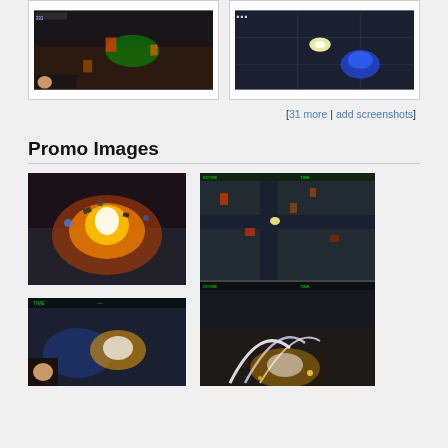[Figure (screenshot): Video game screenshot showing top-down view with colorful lights and characters]
[Figure (screenshot): Video game screenshot showing top-down view with blue character and gunfire]
[31 more | add screenshots]
Promo Images
[Figure (screenshot): Promo image showing explosion effect in dark environment]
[Figure (screenshot): Promo image showing two split-screen top-down game views with combat]
[Figure (screenshot): Promo image showing combat scene with white light effects]